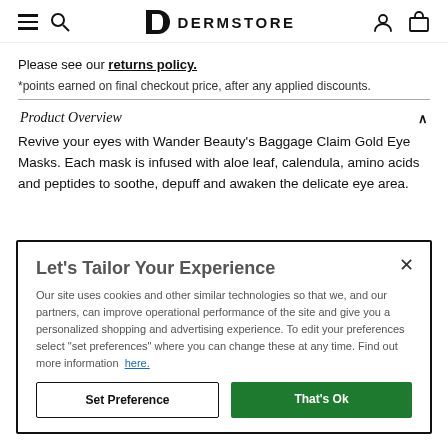DERMSTORE — navigation bar with menu, search, logo, account, cart icons
Please see our returns policy.
*points earned on final checkout price, after any applied discounts.
Product Overview
Revive your eyes with Wander Beauty's Baggage Claim Gold Eye Masks. Each mask is infused with aloe leaf, calendula, amino acids and peptides to soothe, depuff and awaken the delicate eye area.
Let's Tailor Your Experience
Our site uses cookies and other similar technologies so that we, and our partners, can improve operational performance of the site and give you a personalized shopping and advertising experience. To edit your preferences select "set preferences" where you can change these at any time. Find out more information here.
Set Preference   That's Ok